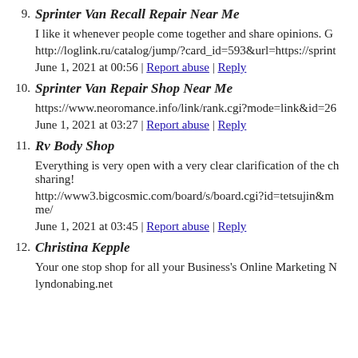9. Sprinter Van Recall Repair Near Me
I like it whenever people come together and share opinions. G…
http://loglink.ru/catalog/jump/?card_id=593&url=https://sprin…
June 1, 2021 at 00:56 | Report abuse | Reply
10. Sprinter Van Repair Shop Near Me
https://www.neoromance.info/link/rank.cgi?mode=link&id=26…
June 1, 2021 at 03:27 | Report abuse | Reply
11. Rv Body Shop
Everything is very open with a very clear clarification of the ch… sharing!
http://www3.bigcosmic.com/board/s/board.cgi?id=tetsujin&m… me/
June 1, 2021 at 03:45 | Report abuse | Reply
12. Christina Kepple
Your one stop shop for all your Business's Online Marketing N…
lyndonabing.net